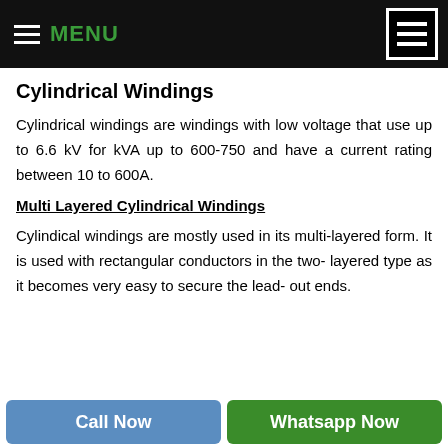MENU
Cylindrical Windings
Cylindrical windings are windings with low voltage that use up to 6.6 kV for kVA up to 600-750 and have a current rating between 10 to 600A.
Multi Layered Cylindrical Windings
Cylindical windings are mostly used in its multi-layered form. It is used with rectangular conductors in the two- layered type as it becomes very easy to secure the lead- out ends.
Call Now | Whatsapp Now